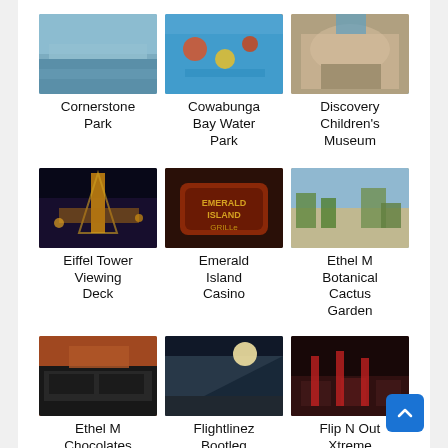[Figure (photo): Cornerstone Park - aerial view of park with lake]
Cornerstone Park
[Figure (photo): Cowabunga Bay Water Park - aerial view of colorful water park]
Cowabunga Bay Water Park
[Figure (photo): Discovery Children's Museum - modern building exterior]
Discovery Children's Museum
[Figure (photo): Eiffel Tower Viewing Deck - Las Vegas Eiffel Tower at night]
Eiffel Tower Viewing Deck
[Figure (photo): Emerald Island Casino - sign reading Emerald Island Grille]
Emerald Island Casino
[Figure (photo): Ethel M Botanical Cactus Garden - outdoor garden view]
Ethel M Botanical Cactus Garden
[Figure (photo): Ethel M Chocolates - exterior of store building]
Ethel M Chocolates
[Figure (photo): Flightlinez Bootleg - landscape with sky and sun]
Flightlinez Bootleg
[Figure (photo): Flip N Out Xtreme - indoor trampoline park]
Flip N Out Xtreme